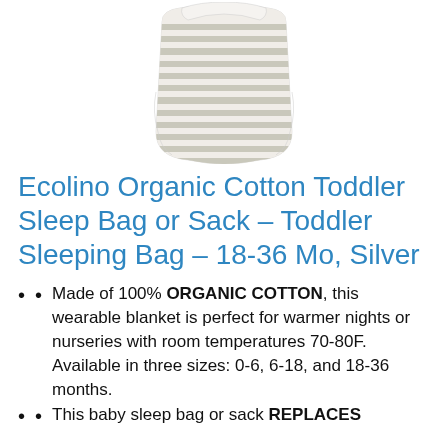[Figure (photo): Photo of a striped grey and white baby/toddler sleep sack or sleeping bag with horizontal stripes, shown from above on a white background.]
Ecolino Organic Cotton Toddler Sleep Bag or Sack – Toddler Sleeping Bag – 18-36 Mo, Silver
Made of 100% ORGANIC COTTON, this wearable blanket is perfect for warmer nights or nurseries with room temperatures 70-80F. Available in three sizes: 0-6, 6-18, and 18-36 months.
This baby sleep bag or sack REPLACES